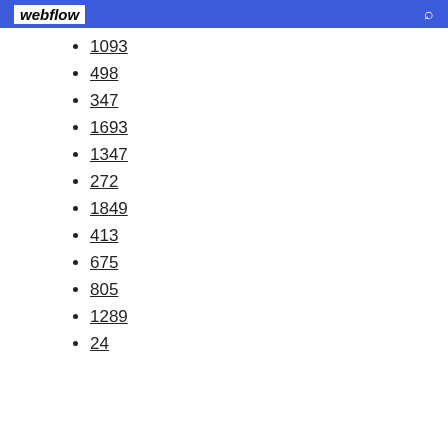webflow
1093
498
347
1693
1347
272
1849
413
675
805
1289
24